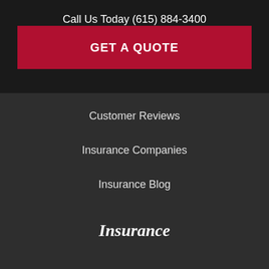Call Us Today (615) 884-3400
GET A QUOTE
Customer Reviews
Insurance Companies
Insurance Blog
Insurance